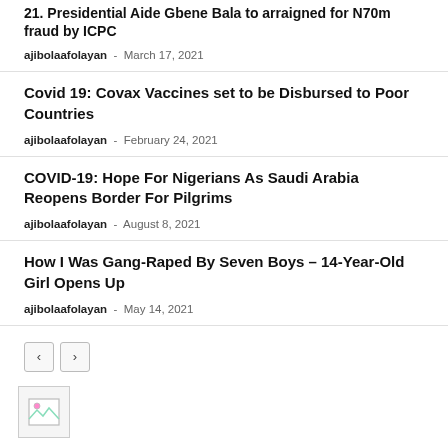21. Presidential Aide Gbene Bala to arraigned for N70m fraud by ICPC
ajibolaafolayan - March 17, 2021
Covid 19: Covax Vaccines set to be Disbursed to Poor Countries
ajibolaafolayan - February 24, 2021
COVID-19: Hope For Nigerians As Saudi Arabia Reopens Border For Pilgrims
ajibolaafolayan - August 8, 2021
How I Was Gang-Raped By Seven Boys – 14-Year-Old Girl Opens Up
ajibolaafolayan - May 14, 2021
[Figure (other): Broken image placeholder icon at bottom left]